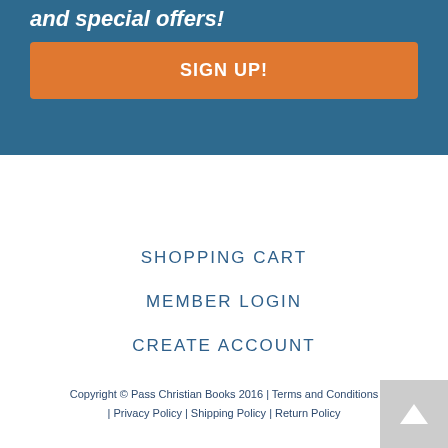and special offers!
SIGN UP!
SHOPPING CART
MEMBER LOGIN
CREATE ACCOUNT
Copyright © Pass Christian Books 2016 | Terms and Conditions | Privacy Policy | Shipping Policy | Return Policy